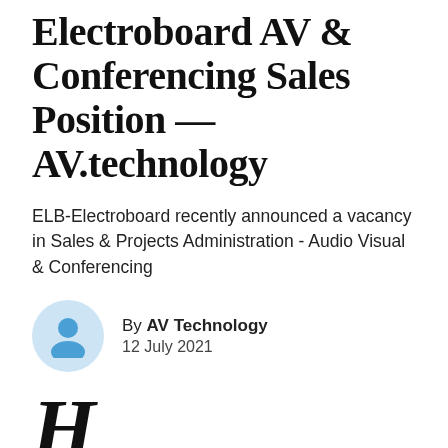Electroboard AV & Conferencing Sales Position – AV.technology
ELB-Electroboard recently announced a vacancy in Sales & Projects Administration - Audio Visual & Conferencing
By AV Technology
12 July 2021
Here's the job listing courtesy of ELB-Electroboard...